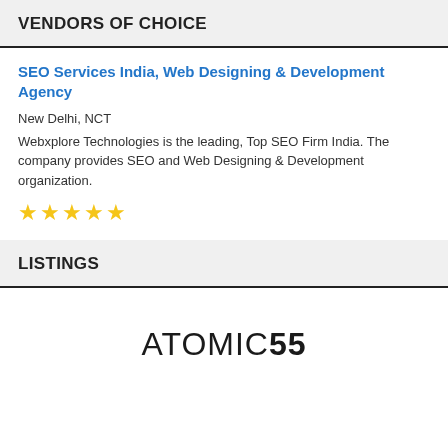VENDORS OF CHOICE
SEO Services India, Web Designing & Development Agency
New Delhi, NCT
Webxplore Technologies is the leading, Top SEO Firm India. The company provides SEO and Web Designing & Development organization.
★★★★★
LISTINGS
[Figure (logo): ATOMIC55 logo in bold black text]